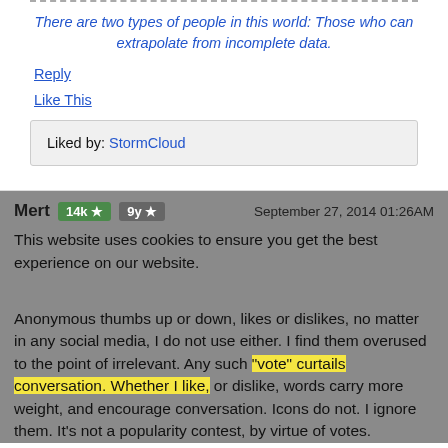There are two types of people in this world: Those who can extrapolate from incomplete data.
Reply
Like This
Liked by: StormCloud
Mert   14k ★   9y ★   September 27, 2014 01:26AM
This website uses cookies to ensure you get the best experience on our website.
Anonymous thumbs up or down, likes or dislikes, no matter in any social media, I do not use either. I find them overused to the point of irrelevant. Any such "vote" curtails conversation. Whether I like, or dislike, words carry more weight, and encourage conversation. Icons do not. I ignore them. It's not a popularity contest, by virtue of votes.